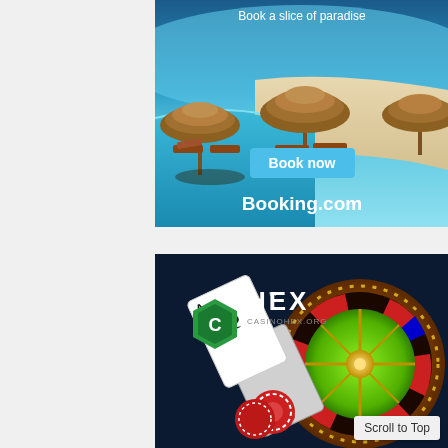[Figure (illustration): Booking.com advertisement banner showing a tropical beach with thatched umbrellas, lounge chairs beside a pool, turquoise water, white sand. Text: 'Book a slice of paradise', 'Book now' button in cyan, 'Booking.com' logo in white bold text at bottom.]
[Figure (illustration): CasinoHex advertisement banner with dark background. Shows HEX logo with green hexagon icon, casino roulette wheel, playing cards (ace of spades), red poker chips. Brand text: HEX, casinohex.org]
Scroll to Top